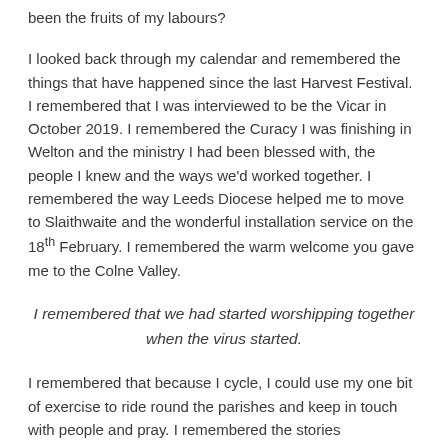been the fruits of my labours?
I looked back through my calendar and remembered the things that have happened since the last Harvest Festival. I remembered that I was interviewed to be the Vicar in October 2019. I remembered the Curacy I was finishing in Welton and the ministry I had been blessed with, the people I knew and the ways we'd worked together. I remembered the way Leeds Diocese helped me to move to Slaithwaite and the wonderful installation service on the 18th February. I remembered the warm welcome you gave me to the Colne Valley.
I remembered that we had started worshipping together when the virus started.
I remembered that because I cycle, I could use my one bit of exercise to ride round the parishes and keep in touch with people and pray. I remembered the stories